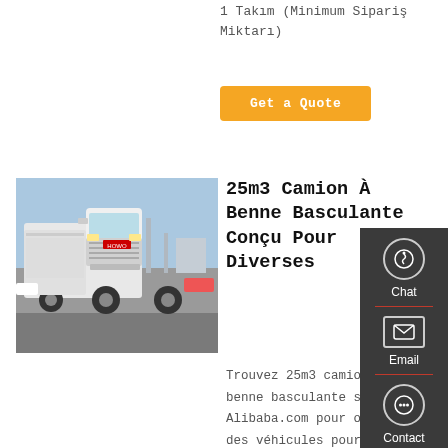1 Takım (Minimum Sipariş Miktarı)
Get a Quote
[Figure (photo): Front view of a white HOWO heavy-duty truck (Sinotruk) parked in a lot with other vehicles and a blue sky background.]
25m3 Camion À Benne Basculante Conçu Pour Diverses
Trouvez 25m3 camion à benne basculante sur Alibaba.com pour obtenir des véhicules pour votre usage personnel ou commercial. Obtenez 25m3 camion à benne